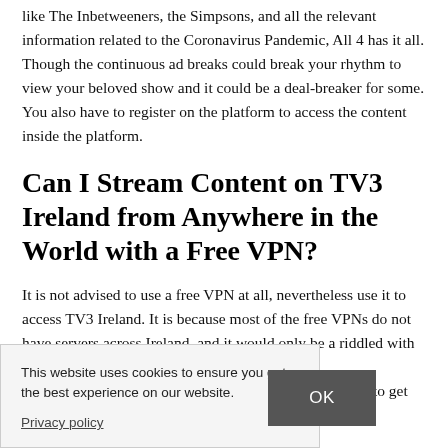like The Inbetweeners, the Simpsons, and all the relevant information related to the Coronavirus Pandemic, All 4 has it all. Though the continuous ad breaks could break your rhythm to view your beloved show and it could be a deal-breaker for some. You also have to register on the platform to access the content inside the platform.
Can I Stream Content on TV3 Ireland from Anywhere in the World with a Free VPN?
It is not advised to use a free VPN at all, nevertheless use it to access TV3 Ireland. It is because most of the free VPNs do not have servers across Ireland, and it would only be a riddled with dware. The free et, able to get
This website uses cookies to ensure you get the best experience on our website.

Privacy policy
OK